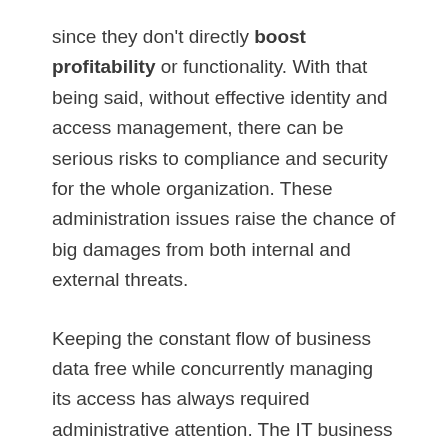since they don't directly boost profitability or functionality. With that being said, without effective identity and access management, there can be serious risks to compliance and security for the whole organization. These administration issues raise the chance of big damages from both internal and external threats.
Keeping the constant flow of business data free while concurrently managing its access has always required administrative attention. The IT business environment is forever evolving, and the challenges only become greater with the newer trends like BYOD, cloud, mobile apps, and an increasingly mobile workforce. There are more devices and products to be managed then there